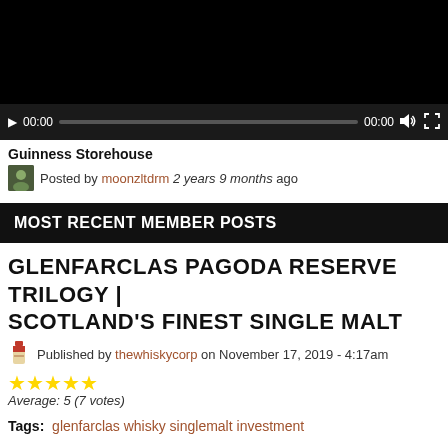[Figure (screenshot): Video player with black screen and playback controls showing 00:00 timestamps]
Guinness Storehouse
Posted by moonzltdrm 2 years 9 months ago
MOST RECENT MEMBER POSTS
GLENFARCLAS PAGODA RESERVE TRILOGY | SCOTLAND'S FINEST SINGLE MALT
Published by thewhiskycorp on November 17, 2019 - 4:17am
★★★★★ Average: 5 (7 votes)
Tags: glenfarclas whisky singlemalt investment
WHAT HAPPENS WHEN YOU HAVE GREAT ARTWORK?